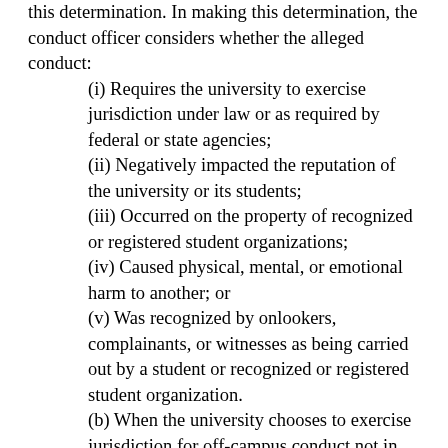this determination. In making this determination, the conduct officer considers whether the alleged conduct: (i) Requires the university to exercise jurisdiction under law or as required by federal or state agencies; (ii) Negatively impacted the reputation of the university or its students; (iii) Occurred on the property of recognized or registered student organizations; (iv) Caused physical, mental, or emotional harm to another; or (v) Was recognized by onlookers, complainants, or witnesses as being carried out by a student or recognized or registered student organization. (b) When the university chooses to exercise jurisdiction for off-campus conduct not in connection with a university-sponsored activity, the parties must be notified in writing of the decision and the reasons for the decision, and their right to challenge the decision to the vice president for student affairs or designee. Challenges to jurisdiction must be in writing and filed within five calendar days from the date the notice is sent. In cases implicating Washington State